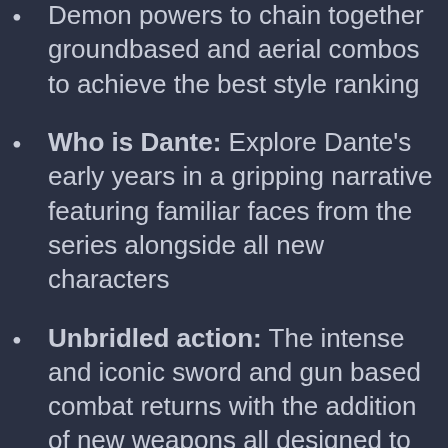Demon powers to chain together groundbased and aerial combos to achieve the best style ranking
Who is Dante: Explore Dante's early years in a gripping narrative featuring familiar faces from the series alongside all new characters
Unbridled action: The intense and iconic sword and gun based combat returns with the addition of new weapons all designed to dispatch the demonic spawn back to hell with style and panache
Retaining the Devil May Cry DNA: Capcom staff, including team members from previous Devil May Cry titles, have been assigned to the project